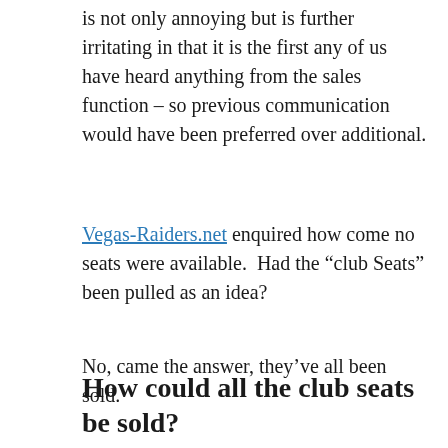is not only annoying but is further irritating in that it is the first any of us have heard anything from the sales function – so previous communication would have been preferred over additional.
Vegas-Raiders.net enquired how come no seats were available.  Had the “club Seats” been pulled as an idea?
No, came the answer, they’ve all been sold.
How could all the club seats be sold?